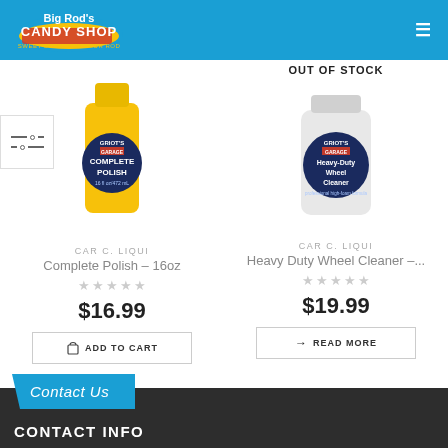[Figure (logo): Big Rods Candy Shop logo with colorful text on blue/yellow background]
[Figure (photo): Griot's Garage Complete Polish yellow 16oz bottle]
OUT OF STOCK
[Figure (photo): Griot's Garage Heavy-Duty Wheel Cleaner white container]
CAR C. LIQUI
Complete Polish – 16oz
$16.99
CAR C. LIQUI
Heavy Duty Wheel Cleaner –...
$19.99
ADD TO CART
READ MORE
Contact Us
CONTACT INFO